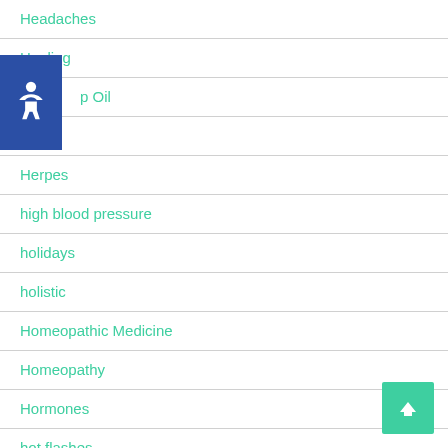Headaches
Healing
Hemp Oil
Herbs
Herpes
high blood pressure
holidays
holistic
Homeopathic Medicine
Homeopathy
Hormones
hot flashes
hynosis